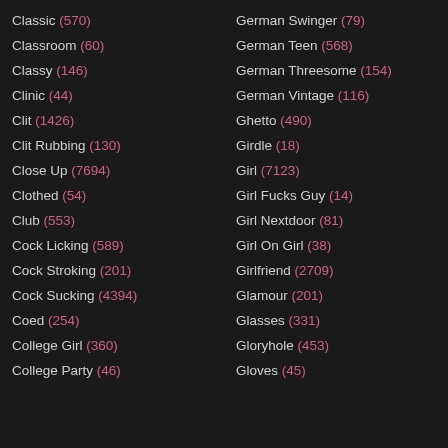Classic (570)
Classroom (60)
Classy (146)
Clinic (44)
Clit (1426)
Clit Rubbing (130)
Close Up (7694)
Clothed (54)
Club (553)
Cock Licking (589)
Cock Stroking (201)
Cock Sucking (4394)
Coed (254)
College Girl (360)
College Party (46)
German Swinger (79)
German Teen (568)
German Threesome (154)
German Vintage (116)
Ghetto (490)
Girdle (18)
Girl (7123)
Girl Fucks Guy (14)
Girl Nextdoor (81)
Girl On Girl (38)
Girlfriend (2709)
Glamour (201)
Glasses (331)
Gloryhole (453)
Gloves (45)